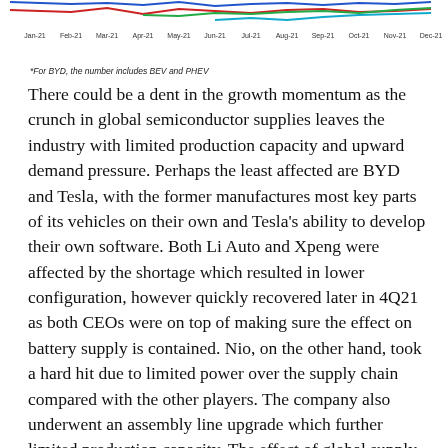[Figure (line-chart): Partial view of a line chart showing monthly EV sales data for Jan-21 through Dec-21, with axis labels visible at the bottom. Multiple colored lines visible at the top of the cropped image.]
*For BYD, the number includes BEV and PHEV
There could be a dent in the growth momentum as the crunch in global semiconductor supplies leaves the industry with limited production capacity and upward demand pressure. Perhaps the least affected are BYD and Tesla, with the former manufactures most key parts of its vehicles on their own and Tesla's ability to develop their own software. Both Li Auto and Xpeng were affected by the shortage which resulted in lower configuration, however quickly recovered later in 4Q21 as both CEOs were on top of making sure the effect on battery supply is contained. Nio, on the other hand, took a hard hit due to limited power over the supply chain compared with the other players. The company also underwent an assembly line upgrade which further limited production capacity. The effect of global supply chain shortages is said to last throughout 2022, causing fear that the hindered growth of the EV market is yet to ease.